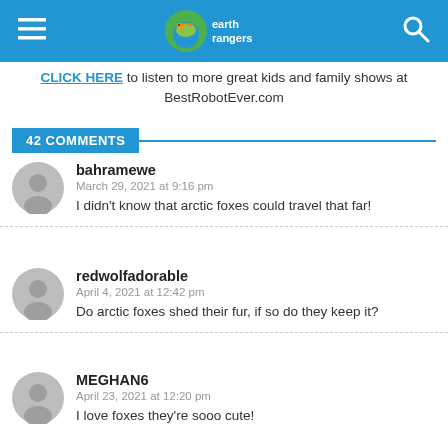Earth Rangers (logo) — navigation header with menu and search icons
CLICK HERE to listen to more great kids and family shows at BestRobotEver.com
42 COMMENTS
bahramewe
March 29, 2021 at 9:16 pm
I didn't know that arctic foxes could travel that far!
redwolfadorable
April 4, 2021 at 12:42 pm
Do arctic foxes shed their fur, if so do they keep it?
MEGHAN6
April 23, 2021 at 12:20 pm
I love foxes they're sooo cute!